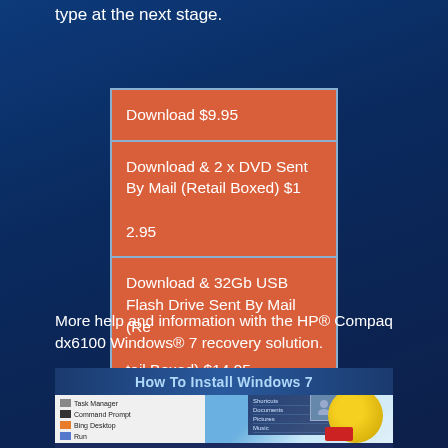type at the next stage.
Download $9.95
Download & 2 x DVD Sent By Mail (Retail Boxed) $12.95
Download & 32Gb USB Flash Drive Sent By Mail (Retail Boxed) $14.95
More help and information with the HP® Compaq dx6100 Windows® 7 recovery solution.
[Figure (screenshot): Thumbnail of a YouTube video titled 'How To Install Windows 7' showing a Windows taskbar menu with Task Manager, Command Prompt, Bing Desktop, Run options, alongside a Windows 7 Start menu and a daisy flower background.]